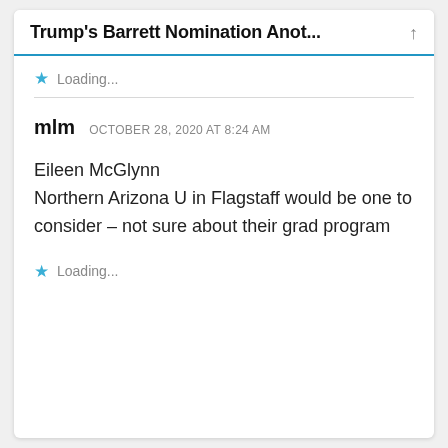Trump's Barrett Nomination Anot...
Loading...
mlm  OCTOBER 28, 2020 AT 8:24 AM
Eileen McGlynn
Northern Arizona U in Flagstaff would be one to consider – not sure about their grad program
Loading...